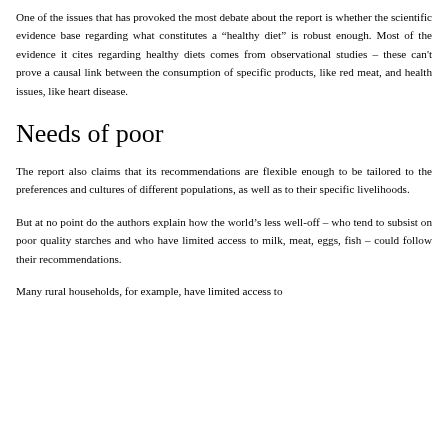One of the issues that has provoked the most debate about the report is whether the scientific evidence base regarding what constitutes a “healthy diet” is robust enough. Most of the evidence it cites regarding healthy diets comes from observational studies – these can't prove a causal link between the consumption of specific products, like red meat, and health issues, like heart disease.
Needs of poor
The report also claims that its recommendations are flexible enough to be tailored to the preferences and cultures of different populations, as well as to their specific livelihoods.
But at no point do the authors explain how the world’s less well-off – who tend to subsist on poor quality starches and who have limited access to milk, meat, eggs, fish – could follow their recommendations.
Many rural households, for example, have limited access to